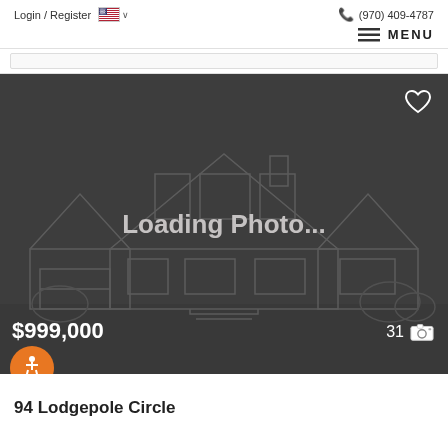Login / Register  🇺🇸 ∨  (970) 409-4787
≡ MENU
[Figure (screenshot): Real estate listing placeholder showing a house wireframe outline on a dark gray background with 'Loading Photo...' text in the center, a heart icon in the top-right corner, a price of $999,000 in the bottom-left, and a camera icon with count '31' in the bottom-right.]
94 Lodgepole Circle